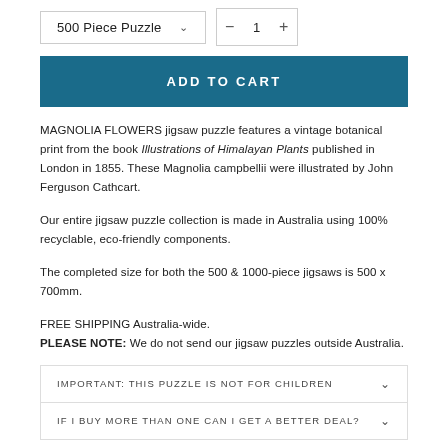[Figure (screenshot): Dropdown selector showing '500 Piece Puzzle' with chevron, and quantity control showing minus, 1, plus buttons]
ADD TO CART
MAGNOLIA FLOWERS jigsaw puzzle features a vintage botanical print from the book Illustrations of Himalayan Plants published in London in 1855. These Magnolia campbellii were illustrated by John Ferguson Cathcart.
Our entire jigsaw puzzle collection is made in Australia using 100% recyclable, eco-friendly components.
The completed size for both the 500 & 1000-piece jigsaws is 500 x 700mm.
FREE SHIPPING Australia-wide.
PLEASE NOTE: We do not send our jigsaw puzzles outside Australia.
IMPORTANT: THIS PUZZLE IS NOT FOR CHILDREN
IF I BUY MORE THAN ONE CAN I GET A BETTER DEAL?